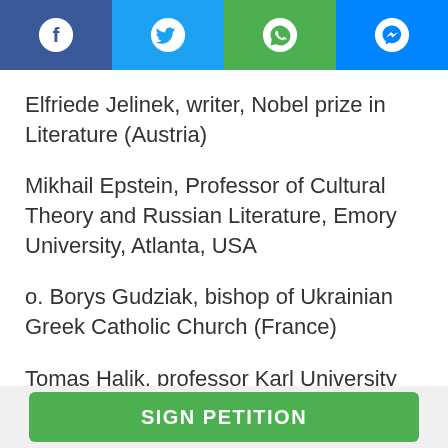[Figure (other): Social media share bar with Facebook, Twitter, WhatsApp, and Messenger icons]
Elfriede Jelinek, writer, Nobel prize in Literature (Austria)
Mikhail Epstein, Professor of Cultural Theory and Russian Literature, Emory University, Atlanta, USA
o. Borys Gudziak, bishop of Ukrainian Greek Catholic Church (France)
Tomas Halik, professor Karl University (Czech Republic)
Ola Hnatiuk (Poland)
SIGN PETITION